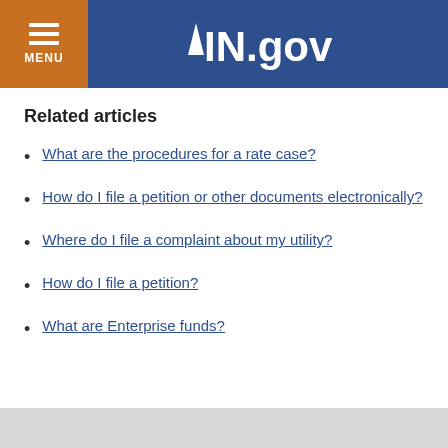MENU | IN.gov
Related articles
What are the procedures for a rate case?
How do I file a petition or other documents electronically?
Where do I file a complaint about my utility?
How do I file a petition?
What are Enterprise funds?